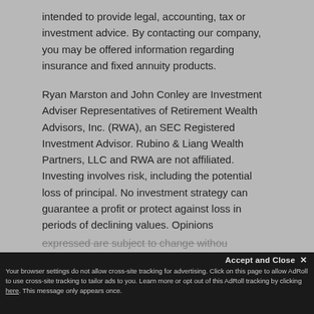intended to provide legal, accounting, tax or investment advice. By contacting our company, you may be offered information regarding insurance and fixed annuity products.
Ryan Marston and John Conley are Investment Adviser Representatives of Retirement Wealth Advisors, Inc. (RWA), an SEC Registered Investment Advisor. Rubino & Liang Wealth Partners, LLC and RWA are not affiliated. Investing involves risk, including the potential loss of principal. No investment strategy can guarantee a profit or protect against loss in periods of declining values. Opinions expressed are subject to change without
expressed are subject to change withou
Accept and Close ✕
Your browser settings do not allow cross-site tracking for advertising. Click on this page to allow AdRoll to use cross-site tracking to tailor ads to you. Learn more or opt out of this AdRoll tracking by clicking here. This message only appears once.